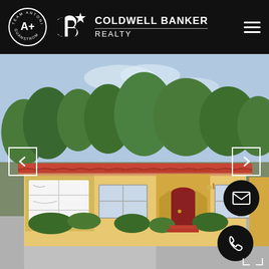[Figure (logo): Team Antonia Guanstrom A+ circular logo in white on black header]
[Figure (logo): Coldwell Banker Realty logo with CB star monogram in white on black header]
[Figure (photo): Exterior photo of a Spanish-style single-story ranch house with terracotta tile roof, yellow stucco walls, red arched front door, white garage door, surrounded by trees and greenery]
[Figure (illustration): Email contact button (envelope icon) black circle, bottom right of photo]
[Figure (illustration): Phone contact button (telephone icon) black circle, bottom right of photo]